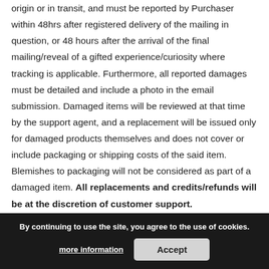origin or in transit, and must be reported by Purchaser within 48hrs after registered delivery of the mailing in question, or 48 hours after the arrival of the final mailing/reveal of a gifted experience/curiosity where tracking is applicable. Furthermore, all reported damages must be detailed and include a photo in the email submission. Damaged items will be reviewed at that time by the support agent, and a replacement will be issued only for damaged products themselves and does not cover or include packaging or shipping costs of the said item. Blemishes to packaging will not be considered as part of a damaged item. All replacements and credits/refunds will be at the discretion of customer support.
shipping restrictions. contacted by a member of our team for shipping arrangements. Freight